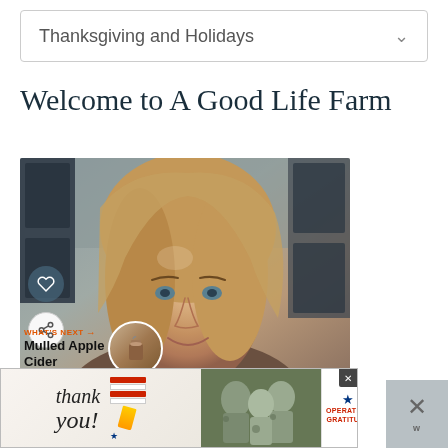Thanksgiving and Holidays
Welcome to A Good Life Farm
[Figure (photo): Portrait photo of a woman with long brown hair and blue eyes, smiling, with dark shuttered windows in the background. Social buttons (heart and share) overlay the left side. A 'What's Next → Mulled Apple Cider' overlay with a thumbnail appears at the bottom left.]
[Figure (infographic): Advertisement banner: 'thank you!' handwritten text with patriotic pencil graphic on left, military personnel photo in center, Operation Gratitude logo on right with close button.]